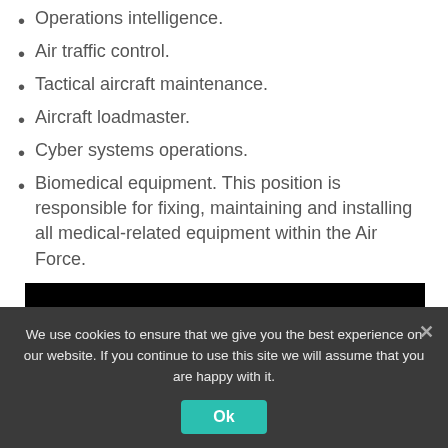Operations intelligence.
Air traffic control.
Tactical aircraft maintenance.
Aircraft loadmaster.
Cyber systems operations.
Biomedical equipment. This position is responsible for fixing, maintaining and installing all medical-related equipment within the Air Force.
[Figure (screenshot): YouTube video thumbnail showing USAF In-flight Refuelers (Boom O...) with US Air Force logo]
We use cookies to ensure that we give you the best experience on our website. If you continue to use this site we will assume that you are happy with it.